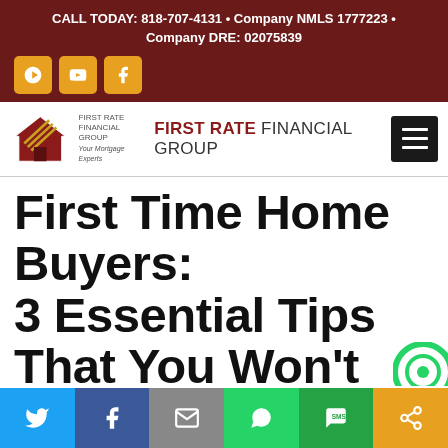CALL TODAY: 818-707-4131 • Company NMLS 1777223 • Company DRE: 02075839
[Figure (logo): First Rate Financial Group logo with house icon and company name]
First Time Home Buyers: 3 Essential Tips That You Won't Hear from Your [Estate]